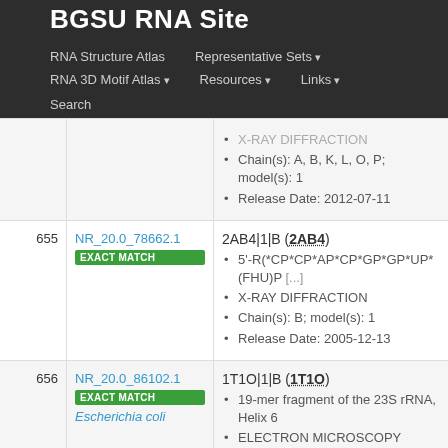BGSU RNA Site
RNA Structure Atlas | Representative Sets ▾ | RNA 3D Motif Atlas ▾ | Resources ▾ | Links ▾ | Search
| # | NR Set ID | Structure Info |
| --- | --- | --- |
|  |  | X-RAY DIFFRACTION
Chain(s): A, B, K, L, O, P; model(s): 1
Release Date: 2012-07-11 |
| 655 | NR_20.0_78662.1 EXACT MATCH | 2AB4|1|B (2AB4)
5'-R(*CP*CP*AP*CP*GP*GP*UP*(FHU)P [...]
X-RAY DIFFRACTION
Chain(s): B; model(s): 1
Release Date: 2005-12-13 |
| 656 | NR_20.0_86102.1 EXACT MATCH Escherichia coli | 1T1O|1|B (1T1O)
19-mer fragment of the 23S rRNA, Helix 6
ELECTRON MICROSCOPY
Chain(s): B; model(s): 1
Release Date: 2004-06-15 |